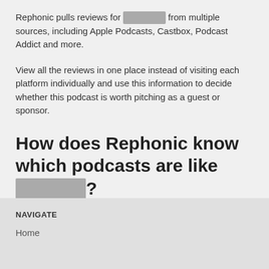Rephonic pulls reviews for ████████ from multiple sources, including Apple Podcasts, Castbox, Podcast Addict and more.
View all the reviews in one place instead of visiting each platform individually and use this information to decide whether this podcast is worth pitching as a guest or sponsor.
How does Rephonic know which podcasts are like ████████?
You can view podcasts similar to ████████ by exploring Rephonic's 3D interactive graph. This tool uses the data displayed on the 'Listeners Also Subscribed To' section of Apple Podcasts to visualise connections between shows.
NAVIGATE
Home